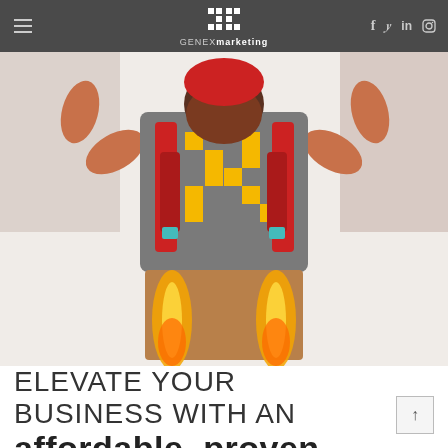GENExmarketing
[Figure (photo): Person seen from behind wearing a gray t-shirt with a yellow pixel X logo, red jetpack straps, brown pants, with rocket flames shooting downward from the jetpack]
ELEVATE YOUR BUSINESS WITH AN affordable, proven advantage